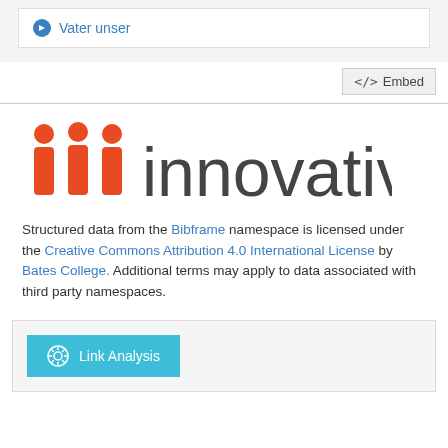Vater unser
<> Embed
[Figure (logo): Innovative Interfaces logo with orange triple bar icon and 'innovative' text in dark gray]
Structured data from the Bibframe namespace is licensed under the Creative Commons Attribution 4.0 International License by Bates College. Additional terms may apply to data associated with third party namespaces.
Link Analysis